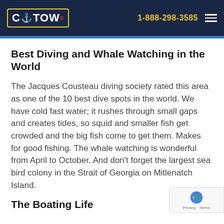C TOW | 1-888-298-3585
Best Diving and Whale Watching in the World
The Jacques Cousteau diving society rated this area as one of the 10 best dive spots in the world.  We have cold fast water; it rushes through small gaps and creates tides, so squid and smaller fish get crowded and the big fish come to get them. Makes for good fishing. The whale watching is wonderful from April to October. And don't forget the largest sea bird colony in the Strait of Georgia on Mitlenatch Island.
The Boating Life